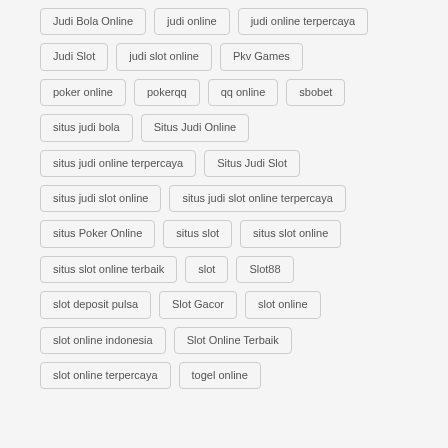Judi Bola Online
judi online
judi online terpercaya
Judi Slot
judi slot online
Pkv Games
poker online
pokerqq
qq online
sbobet
situs judi bola
Situs Judi Online
situs judi online terpercaya
Situs Judi Slot
situs judi slot online
situs judi slot online terpercaya
situs Poker Online
situs slot
situs slot online
situs slot online terbaik
slot
Slot88
slot deposit pulsa
Slot Gacor
slot online
slot online indonesia
Slot Online Terbaik
slot online terpercaya
togel online